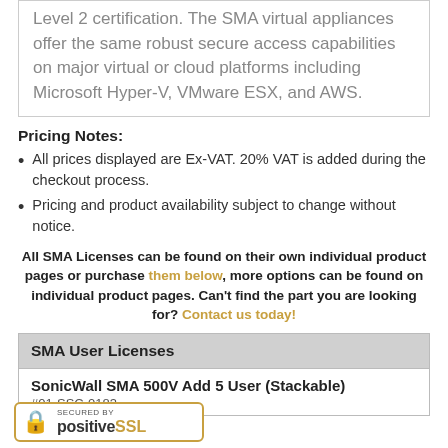Level 2 certification. The SMA virtual appliances offer the same robust secure access capabilities on major virtual or cloud platforms including Microsoft Hyper-V, VMware ESX, and AWS.
Pricing Notes:
All prices displayed are Ex-VAT. 20% VAT is added during the checkout process.
Pricing and product availability subject to change without notice.
All SMA Licenses can be found on their own individual product pages or purchase them below, more options can be found on individual product pages. Can't find the part you are looking for? Contact us today!
| SMA User Licenses |
| --- |
| SonicWall SMA 500V Add 5 User (Stackable) |
| #01-SSC-0183 |
[Figure (logo): Secured by PositiveSSL badge with padlock icon]